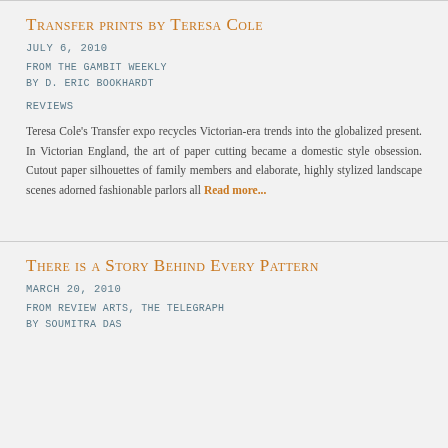Transfer prints by Teresa Cole
JULY 6, 2010
FROM THE GAMBIT WEEKLY
BY D. ERIC BOOKHARDT
REVIEWS
Teresa Cole's Transfer expo recycles Victorian-era trends into the globalized present. In Victorian England, the art of paper cutting became a domestic style obsession. Cutout paper silhouettes of family members and elaborate, highly stylized landscape scenes adorned fashionable parlors all Read more...
There is a Story Behind Every Pattern
MARCH 20, 2010
FROM REVIEW ARTS, THE TELEGRAPH
BY SOUMITRA DAS